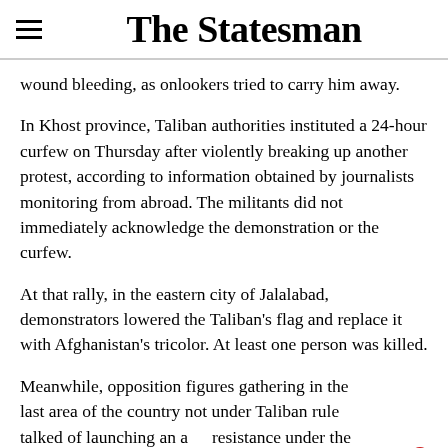The Statesman
wound bleeding, as onlookers tried to carry him away.
In Khost province, Taliban authorities instituted a 24-hour curfew on Thursday after violently breaking up another protest, according to information obtained by journalists monitoring from abroad. The militants did not immediately acknowledge the demonstration or the curfew.
At that rally, in the eastern city of Jalalabad, demonstrators lowered the Taliban's flag and replace it with Afghanistan's tricolor. At least one person was killed.
Meanwhile, opposition figures gathering in the last area of the country not under Taliban rule talked of launching an armed resistance under the banner of the Northern Alliance, which had allied with the US during the 2001 invasion.